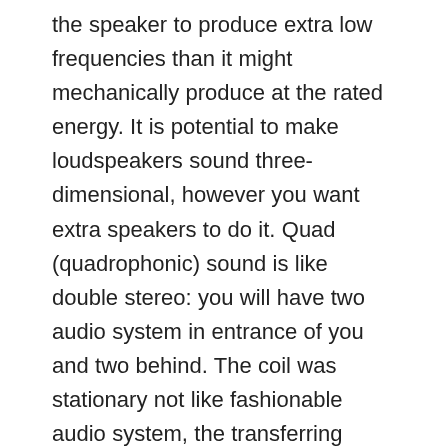the speaker to produce extra low frequencies than it might mechanically produce at the rated energy. It is potential to make loudspeakers sound three-dimensional, however you want extra speakers to do it. Quad (quadrophonic) sound is like double stereo: you will have two audio system in entrance of you and two behind. The coil was stationary not like fashionable audio system, the transferring magnet was inside. At first look, it is apparent that the speaker field offers a spot to mount the drivers. The brand new speaker created a cylindrical sound discipline. Electrostatic loudspeakers use a high voltage electrical field (relatively than a magnetic field) to drive a skinny statically charged membrane. These are the components of the speaker which shield and help the magnet and voice coil in their function. This article will guide you thru a conceptual overview of how audio